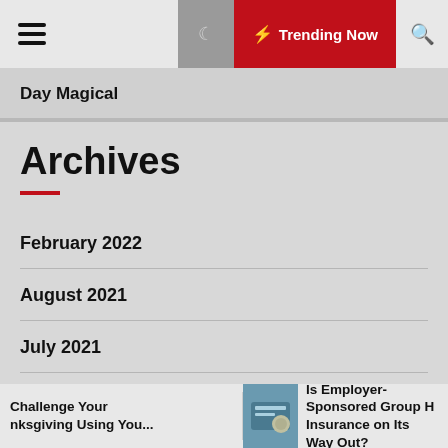Trending Now
Day Magical
Archives
February 2022
August 2021
July 2021
May 2021
April 2021
Challenge Your nksgiving Using You... | Is Employer-Sponsored Group H Insurance on Its Way Out?